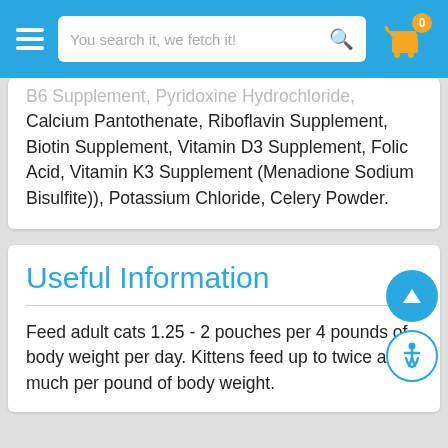You search it, we fetch it!
B6 Supplement, Pyridoxine Hydrochloride, Calcium Pantothenate, Riboflavin Supplement, Biotin Supplement, Vitamin D3 Supplement, Folic Acid, Vitamin K3 Supplement (Menadione Sodium Bisulfite)), Potassium Chloride, Celery Powder.
Useful Information
Feed adult cats 1.25 - 2 pouches per 4 pounds of body weight per day. Kittens feed up to twice as much per pound of body weight.